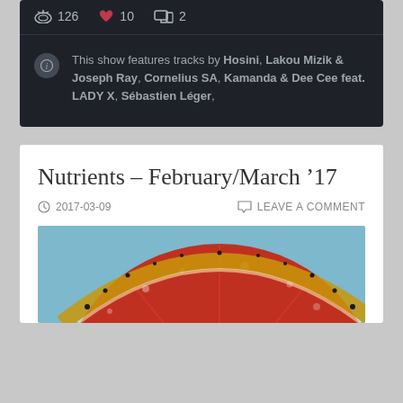126  10  2
This show features tracks by Hosini, Lakou Mizik & Joseph Ray, Cornelius SA, Kamanda & Dee Cee feat. LADY X, Sébastien Léger,
Nutrients – February/March '17
2017-03-09    LEAVE A COMMENT
[Figure (photo): Close-up photo of a citrus fruit slice (appears to be a blood orange or grapefruit) with water droplets, on a blue background]